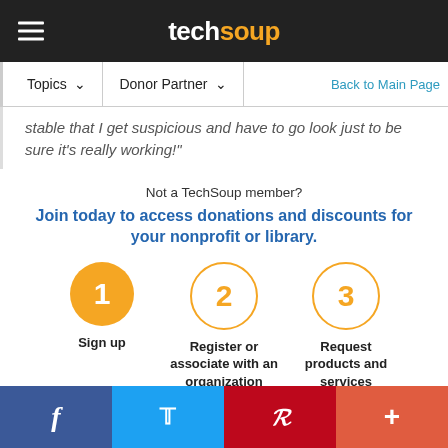techsoup
Topics  Donor Partner  Back to Main Page
stable that I get suspicious and have to go look just to be sure it's really working!"
Not a TechSoup member?
Join today to access donations and discounts for your nonprofit or library.
[Figure (infographic): Three steps: 1 Sign up (filled orange circle), 2 Register or associate with an organization (outlined orange circle), 3 Request products and services (outlined orange circle)]
f  Twitter  P  +